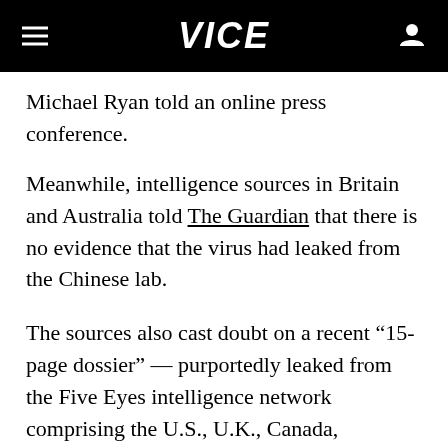VICE
Michael Ryan told an online press conference.
Meanwhile, intelligence sources in Britain and Australia told The Guardian that there is no evidence that the virus had leaked from the Chinese lab.
The sources also cast doubt on a recent “15-page dossier” — purportedly leaked from the Five Eyes intelligence network comprising the U.S., U.K., Canada, Australia, and New Zealand and Canada — that was the basis of a report in Australia’s Daily Telegraph on Saturday, claiming